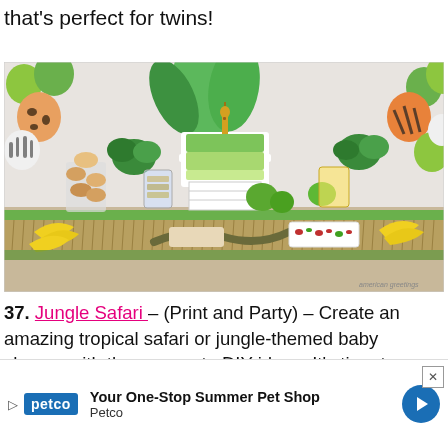that's perfect for twins!
[Figure (photo): A jungle safari themed baby shower dessert table with a green ombre cake topped with a giraffe figurine, animal print and green balloons, tropical leaf decorations, cupcakes, snacks, bananas, and other jungle-themed party foods. Watermark reads 'american greetings'.]
37. Jungle Safari – (Print and Party) – Create an amazing tropical safari or jungle-themed baby shower with these easy to DIY ideas. It's time to ge WILD! ...afari Thank...
[Figure (other): Petco advertisement overlay: 'Your One-Stop Summer Pet Shop – Petco' with Petco logo and blue arrow button. Close X button visible in top right corner.]